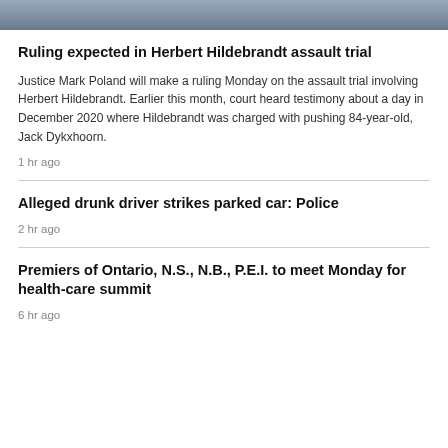[Figure (photo): Partial photograph showing person in dark clothing, cropped at top of page]
Ruling expected in Herbert Hildebrandt assault trial
Justice Mark Poland will make a ruling Monday on the assault trial involving Herbert Hildebrandt. Earlier this month, court heard testimony about a day in December 2020 where Hildebrandt was charged with pushing 84-year-old, Jack Dykxhoorn.
1 hr ago
Alleged drunk driver strikes parked car: Police
2 hr ago
Premiers of Ontario, N.S., N.B., P.E.I. to meet Monday for health-care summit
6 hr ago